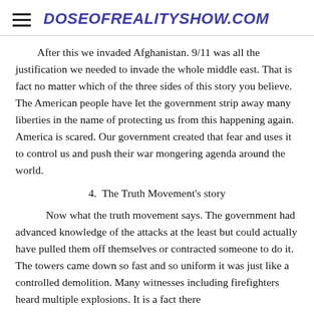DOSEOFREALITYSHOW.COM
After this we invaded Afghanistan. 9/11 was all the justification we needed to invade the whole middle east. That is fact no matter which of the three sides of this story you believe. The American people have let the government strip away many liberties in the name of protecting us from this happening again. America is scared. Our government created that fear and uses it to control us and push their war mongering agenda around the world.
4.  The Truth Movement's story
Now what the truth movement says. The government had advanced knowledge of the attacks at the least but could actually have pulled them off themselves or contracted someone to do it. The towers came down so fast and so uniform it was just like a controlled demolition. Many witnesses including firefighters heard multiple explosions. It is a fact there